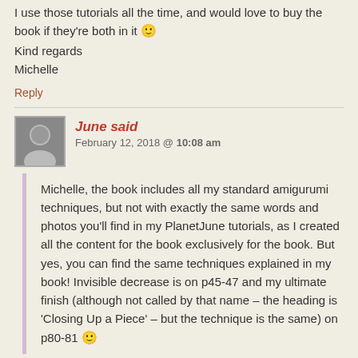I use those tutorials all the time, and would love to buy the book if they're both in it 🙂
Kind regards
Michelle
Reply
June said
February 12, 2018 @ 10:08 am
Michelle, the book includes all my standard amigurumi techniques, but not with exactly the same words and photos you'll find in my PlanetJune tutorials, as I created all the content for the book exclusively for the book. But yes, you can find the same techniques explained in my book! Invisible decrease is on p45-47 and my ultimate finish (although not called by that name – the heading is 'Closing Up a Piece' – but the technique is the same) on p80-81 🙂
Reply
Michelle said